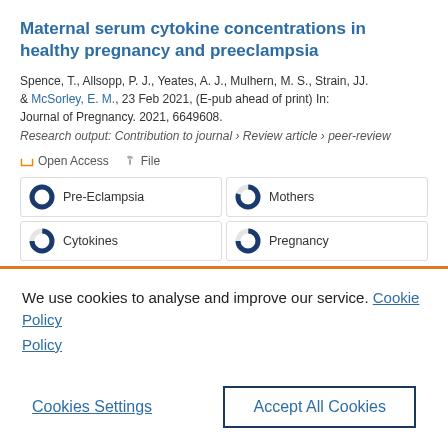Maternal serum cytokine concentrations in healthy pregnancy and preeclampsia
Spence, T., Allsopp, P. J., Yeates, A. J., Mulhern, M. S., Strain, JJ. & McSorley, E. M., 23 Feb 2021, (E-pub ahead of print) In: Journal of Pregnancy. 2021, 6649608.
Research output: Contribution to journal › Review article › peer-review
Open Access
File
Pre-Eclampsia
Mothers
Cytokines
Pregnancy
We use cookies to analyse and improve our service. Cookie Policy
Cookies Settings
Accept All Cookies